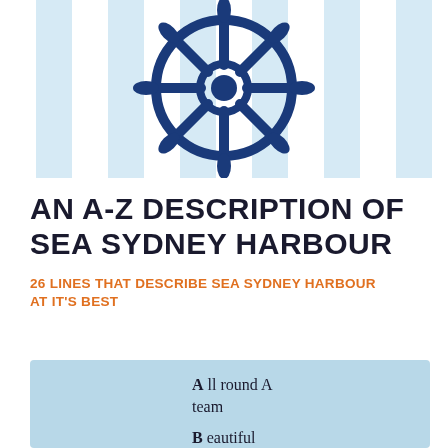[Figure (illustration): A ship's wheel (helm) icon in dark navy blue, centered over a light blue and white vertical striped background banner.]
AN A-Z DESCRIPTION OF SEA SYDNEY HARBOUR
26 LINES THAT DESCRIBE SEA SYDNEY HARBOUR AT IT'S BEST
A ll round A team
B eautiful